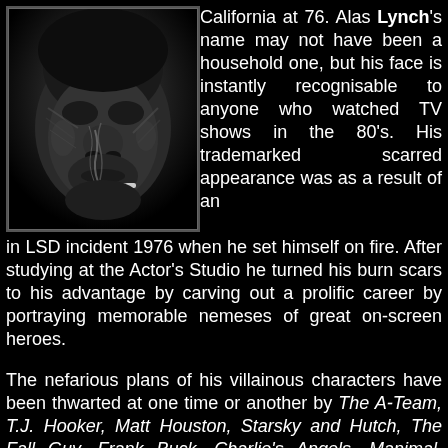[Figure (photo): Black and white close-up photograph of a man's scarred face with a cigarette in his mouth, smoke rising around him.]
California at 76. Alas Lynch's name may not have been a household one, but his face is instantly recognisable to anyone who watched TV shows in the 80's. His trademarked scarred appearance was as a result of an in LSD incident 1976 when he set himself on fire. After studying at the Actor's Studio he turned his burn scars to his advantage by carving out a prolific career by portraying memorable nemeses of great on-screen heroes.
The nefarious plans of his villainous characters have been thwarted at one time or another by The A-Team, T.J. Hooker, Matt Houston, Starsky and Hutch, The Fall Guy, Frank Buck, Charlie's Angels, Manimal, Automan, Stringfellow Hawke, Scarecrow and Mrs. King, Jessica Fletcher, Jake and the Fatman and even Chuck Norris himself in the 1985 movie